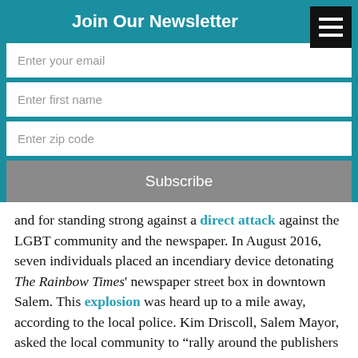Join Our Newsletter
Enter your email
Enter first name
Enter zip code
Subscribe
and for standing strong against a direct attack against the LGBT community and the newspaper. In August 2016, seven individuals placed an incendiary device detonating The Rainbow Times' newspaper street box in downtown Salem. This explosion was heard up to a mile away, according to the local police. Kim Driscoll, Salem Mayor, asked the local community to “rally around the publishers and The Rainbow Times” when the violent act took place. And, the community did. “W A it th t h d it d f thi